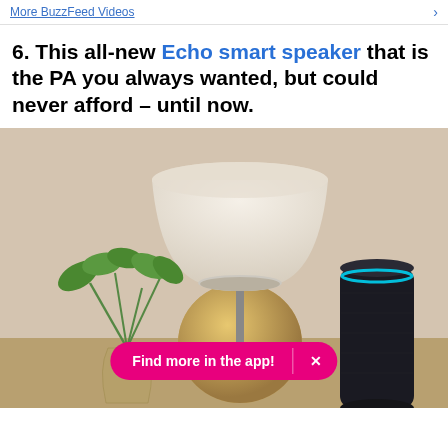More BuzzFeed Videos →
6. This all-new Echo smart speaker that is the PA you always wanted, but could never afford – until now.
[Figure (photo): Amazon Echo smart speaker (dark cylindrical device with blue ring) on a table beside a lamp with a round wooden base, a plant in a glass vase, and a large white lampshade. A pink 'Find more in the app!' banner overlays the bottom center of the image.]